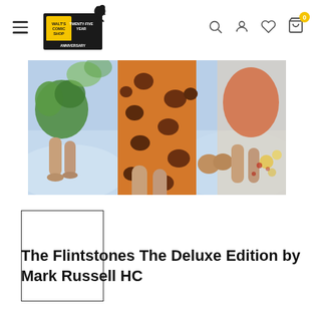Walt's Comic Shop
[Figure (photo): Cropped comic book cover artwork showing stylized prehistoric figures in colorful clothing, a spotted animal-skin garment prominent in center]
[Figure (photo): Small white thumbnail/placeholder box for product image]
The Flintstones The Deluxe Edition by Mark Russell HC